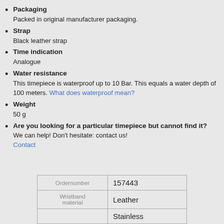Packaging
Packed in original manufacturer packaging.
Strap
Black leather strap
Time indication
Analogue
Water resistance
This timepiece is waterproof up to 10 Bar. This equals a water depth of 100 meters. What does waterproof mean?
Weight
50 g
Are you looking for a particular timepiece but cannot find it?
We can help! Don't hesitate: contact us!
Contact
| Ordernumber | 157443 |
| --- | --- |
| Wristband material | Leather |
|  | Stainless |